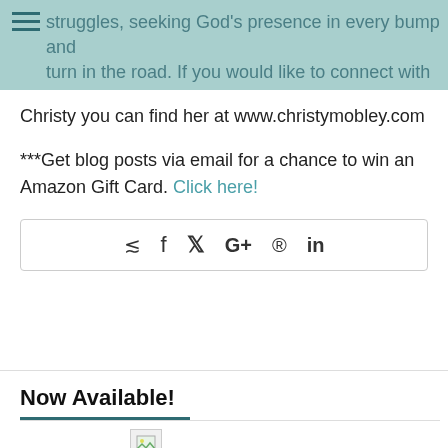struggles, seeking God's presence in every bump and turn in the road. If you would like to connect with
Christy you can find her at www.christymobley.com
***Get blog posts via email for a chance to win an Amazon Gift Card. Click here!
[Figure (other): Social share bar with icons: share, Facebook, Twitter, Google+, Pinterest, LinkedIn]
Now Available!
[Figure (photo): Broken/loading image placeholder]